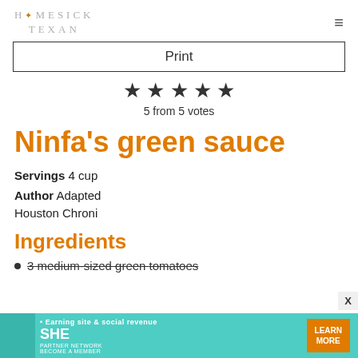HOMESICK TEXAN
Print
5 from 5 votes
Ninfa's green sauce
Servings 4 cup
Author Adapted Houston Chroni
Ingredients
3 medium-sized green tomatoes